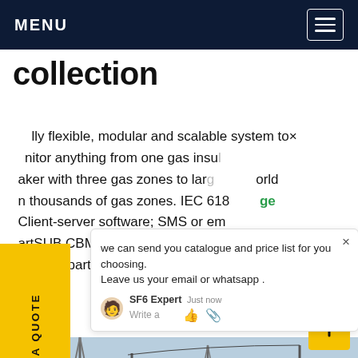MENU
collection
fully flexible, modular and scalable system to monitor anything from one gas insulated breaker with three gas zones to large world with thousands of gas zones. IEC 618 Client-server software; SMS or email; SmartSUB CBM software can integrate SF6 density, partial discharge and circuit
REQUEST A QUOTE
we can send you catalogue and price list for you choosing. Leave us your email or whatsapp .
[Figure (photo): Electrical substation infrastructure with transmission towers, insulators, and high-voltage equipment against a blue sky]